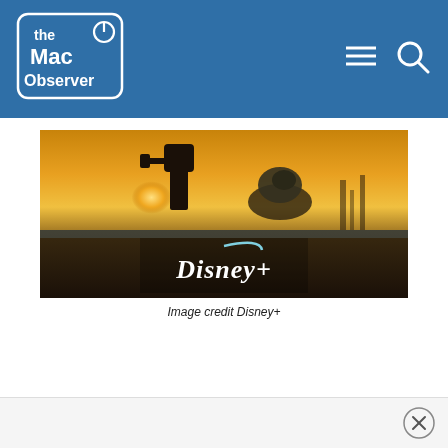the Mac Observer
[Figure (photo): The Mandalorian and Grogu (Baby Yoda) walking in a desert landscape at sunset, with the Disney+ logo overlaid at the bottom center of the image.]
Image credit Disney+